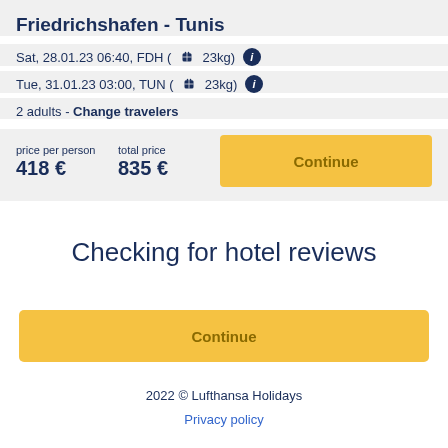Friedrichshafen - Tunis
Sat, 28.01.23 06:40, FDH ( 🧳 23kg) ℹ
Tue, 31.01.23 03:00, TUN ( 🧳 23kg) ℹ
2 adults - Change travelers
price per person
418 €
total price
835 €
Continue
Checking for hotel reviews
Continue
2022 © Lufthansa Holidays
Privacy policy